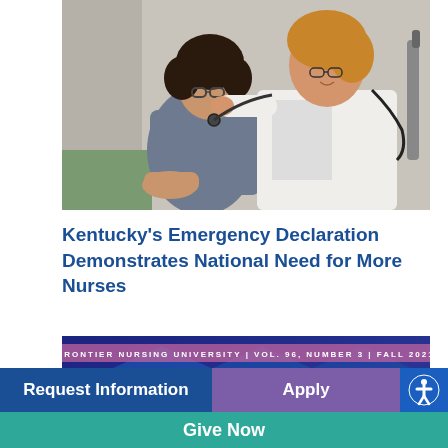[Figure (photo): A female doctor in a white coat using a stethoscope to examine a seated patient wearing a gray t-shirt in a clinical setting.]
Kentucky's Emergency Declaration Demonstrates National Need for More Nurses
[Figure (photo): Cover of Frontier Nursing University Quarterly magazine, Vol. 96, Number 3, Fall 2021, showing large 'QUARTERLY' text on a dark blue/purple background.]
Request Information | Apply | Give Now